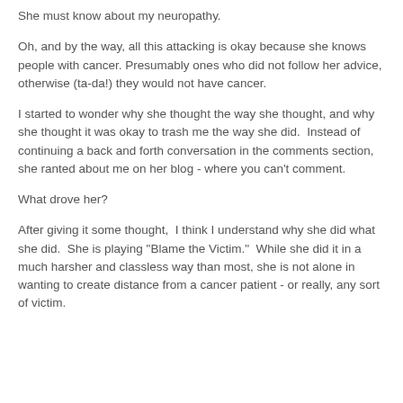She must know about my neuropathy.
Oh, and by the way, all this attacking is okay because she knows people with cancer. Presumably ones who did not follow her advice, otherwise (ta-da!) they would not have cancer.
I started to wonder why she thought the way she thought, and why she thought it was okay to trash me the way she did.  Instead of continuing a back and forth conversation in the comments section, she ranted about me on her blog - where you can't comment.
What drove her?
After giving it some thought,  I think I understand why she did what she did.  She is playing "Blame the Victim."  While she did it in a much harsher and classless way than most, she is not alone in wanting to create distance from a cancer patient - or really, any sort of victim.